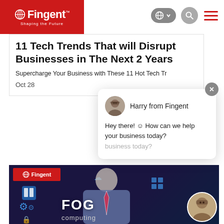Fingent - Shaping the Future
11 Tech Trends That will Disrupt Businesses in The Next 2 Years
Supercharge Your Business with These 11 Hot Tech Tr...
Oct 28
[Figure (screenshot): Chat popup with agent 'Harry from Fingent' avatar and message 'Hey there! ☺ How can we help your business today?']
[Figure (photo): Man in suit with tech icons overlay and 'FOG computing' text, Fingent branded image]